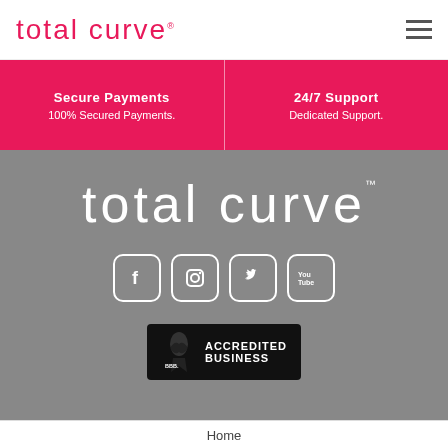total curve
Secure Payments — 100% Secured Payments. | 24/7 Support — Dedicated Support.
[Figure (logo): Total Curve logo in white on gray background with TM mark]
[Figure (illustration): Social media icons: Facebook, Instagram, Twitter, YouTube — white rounded-square icons]
[Figure (logo): BBB Accredited Business badge on black background]
Home